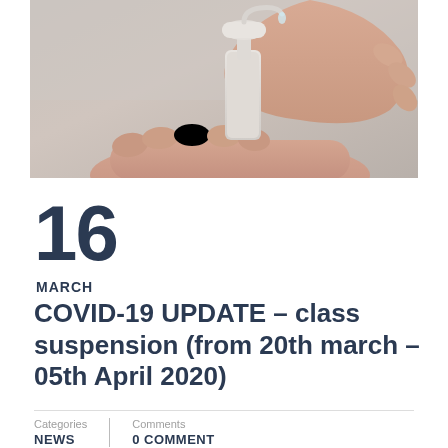[Figure (photo): Close-up of hands using a soap/sanitizer pump dispenser against a light grey background]
16
MARCH
COVID-19 UPDATE – class suspension (from 20th march – 05th April 2020)
Categories
NEWS
Comments
0 COMMENT